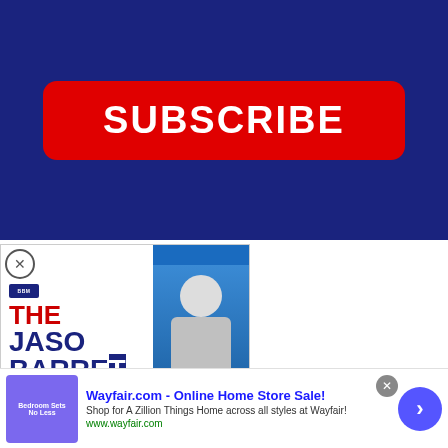[Figure (screenshot): YouTube-style SUBSCRIBE button: red rounded rectangle with white bold text 'SUBSCRIBE' on a dark blue background.]
[Figure (screenshot): Podcast advertisement for 'The Jason Barrett Podcast' featuring Paul Finebaum with text 'PAUL FINEBAUM KNOWS THE POWER'. Has a close (X) button in top-left.]
[Figure (screenshot): Wayfair.com advertisement banner: 'Wayfair.com - Online Home Store Sale! Shop for A Zillion Things Home across all styles at Wayfair! www.wayfair.com' with a close (X) button and a blue arrow circle button on the right.]